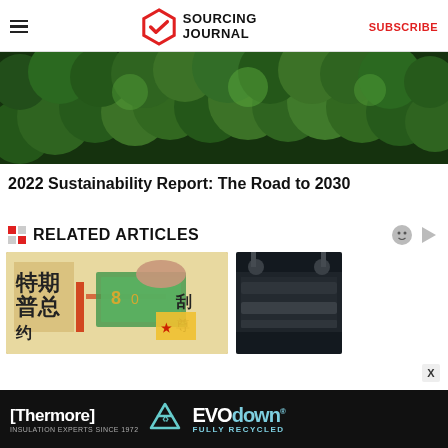SOURCING JOURNAL | SUBSCRIBE
[Figure (photo): Aerial view of lush green tree canopy, mossy forest top]
2022 Sustainability Report: The Road to 2030
RELATED ARTICLES
[Figure (photo): Chinese newspaper with yuan currency bills on top]
[Figure (photo): Industrial printing or manufacturing equipment]
[Figure (other): Thermore EVO down - Insulation Experts Since 1972 - Fully Recycled advertisement banner]